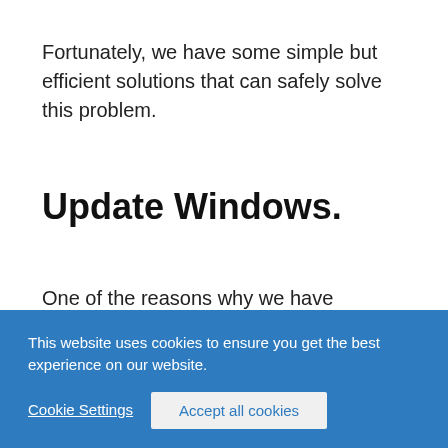Fortunately, we have some simple but efficient solutions that can safely solve this problem.
Update Windows.
One of the reasons why we have problems in
This website uses cookies to ensure you get the best experience on our website.
Cookie Settings
Accept all cookies